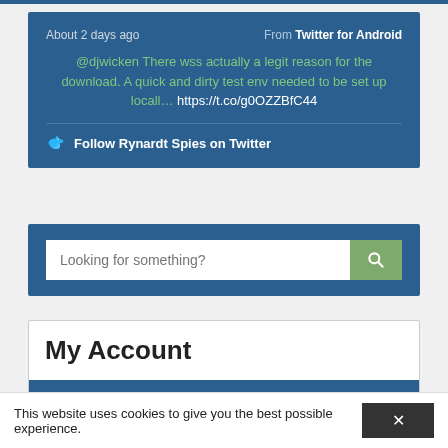[Figure (screenshot): Tweet widget on dark blue background. Shows 'About 2 days ago' on left and 'From Twitter for Android' on right. Tweet text in green: '@djwicken There wss actually a legit reason for the download. A quick and dirty test env needed to be set up locall… https://t.co/g0OZZBfC44'. Below a divider: bird icon and 'Follow Rynardt Spies on Twitter'.]
[Figure (screenshot): Search widget on dark blue background with white input box placeholder 'Looking for something?' and green search button with magnifying glass icon.]
My Account
This website uses cookies to give you the best possible experience.